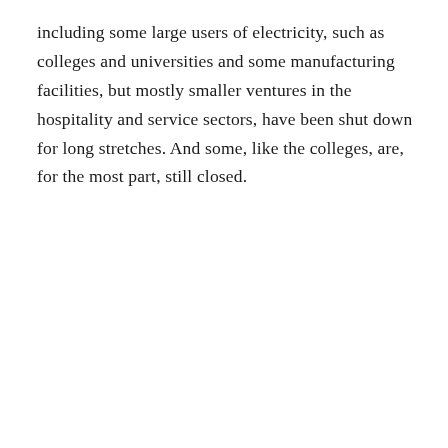including some large users of electricity, such as colleges and universities and some manufacturing facilities, but mostly smaller ventures in the hospitality and service sectors, have been shut down for long stretches. And some, like the colleges, are, for the most part, still closed.